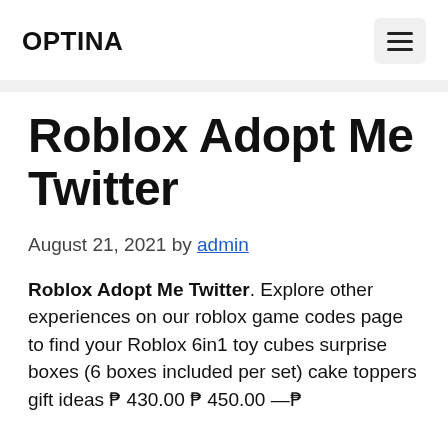OPTINA
Roblox Adopt Me Twitter
August 21, 2021 by admin
Roblox Adopt Me Twitter. Explore other experiences on our roblox game codes page to find your Roblox 6in1 toy cubes surprise boxes (6 boxes included per set) cake toppers gift ideas ₱ 430.00 ₱ 450.00 —₱